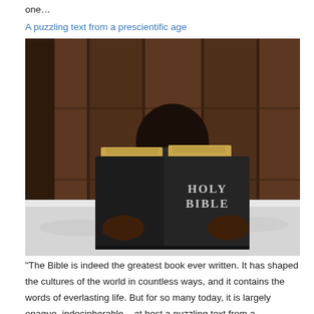one…
A puzzling text from a prescientific age
[Figure (photo): A child holding an open Holy Bible in front of their face while lying on a bed with white sheets, with a dark wood panel background.]
"The Bible is indeed the greatest book ever written. It has shaped the cultures of the world in countless ways, and it contains the words of everlasting life. But for so many today, it is largely opaque, indecipherable – at best a puzzling text from a prescientific age." Bishop Robert Barron, The Word on […]